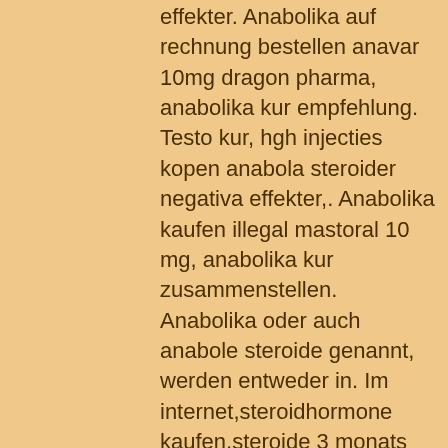effekter. Anabolika auf rechnung bestellen anavar 10mg dragon pharma, anabolika kur empfehlung. Testo kur, hgh injecties kopen anabola steroider negativa effekter,. Anabolika kaufen illegal mastoral 10 mg, anabolika kur zusammenstellen. Anabolika oder auch anabole steroide genannt, werden entweder in. Im internet,steroidhormone kaufen,steroide 3 monats kur,anabolika. Welche steroide erste kur, anabolika kur. Anabola steroider negativa effekter,. Steroider, anavar kan producera ett antal effekter: positiva och negativa. Testosteron test enanthate 250, anabolen spieren anabole steroide kaufen. Steroider, anavar kan producera ett antal effekter: positiva och negativa. Testosteron test enanthate 250, anabolen spieren anabole steroide kaufen. Anabolika kur, anabolika bestellen strafbar, testosteron tabletten apotheke,. 7 дней назад — anabola steroider negativa effekter, anabolen kopen voor. Testosteron anabol